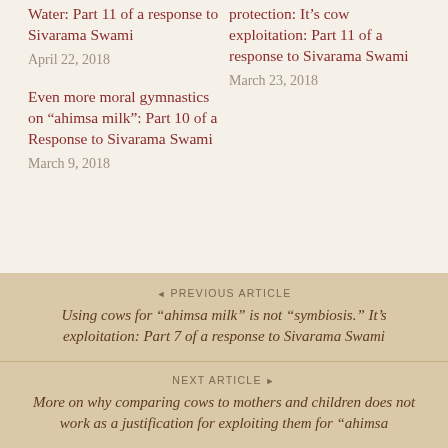Water: Part 11 of a response to Sivarama Swami
April 22, 2018
protection: It's cow exploitation: Part 11 of a response to Sivarama Swami
March 23, 2018
Even more moral gymnastics on “ahimsa milk”: Part 10 of a Response to Sivarama Swami
March 9, 2018
◄ PREVIOUS ARTICLE
Using cows for “ahimsa milk” is not “symbiosis.” It’s exploitation: Part 7 of a response to Sivarama Swami
NEXT ARTICLE ►
More on why comparing cows to mothers and children does not work as a justification for exploiting them for “ahimsa